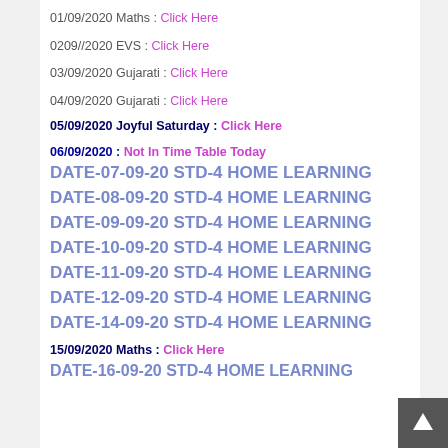01/09/2020 Maths : Click Here
0209//2020 EVS : Click Here
03/09/2020 Gujarati : Click Here
04/09/2020 Gujarati : Click Here
05/09/2020 Joyful Saturday : Click Here
06/09/2020 : Not In Time Table Today
DATE-07-09-20 STD-4 HOME LEARNING
DATE-08-09-20 STD-4 HOME LEARNING
DATE-09-09-20 STD-4 HOME LEARNING
DATE-10-09-20 STD-4 HOME LEARNING
DATE-11-09-20 STD-4 HOME LEARNING
DATE-12-09-20 STD-4 HOME LEARNING
DATE-14-09-20 STD-4 HOME LEARNING
15/09/2020 Maths : Click Here
DATE-16-09-20 STD-4 HOME LEARNING